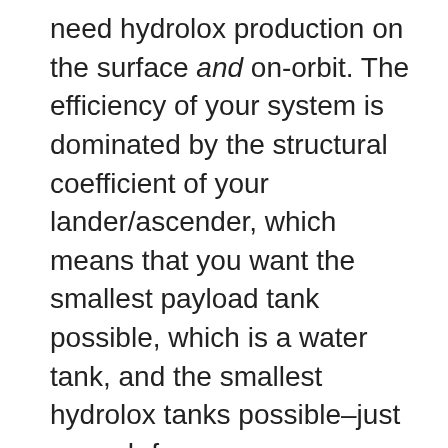need hydrolox production on the surface and on-orbit. The efficiency of your system is dominated by the structural coefficient of your lander/ascender, which means that you want the smallest payload tank possible, which is a water tank, and the smallest hydrolox tanks possible–just enough for a one-way ascent. You can refuel for the return to the surface on-orbit.
That means you need:
1) Water collection and a small hydrolox production system on the surface (just enough to fill the ascent tanks)